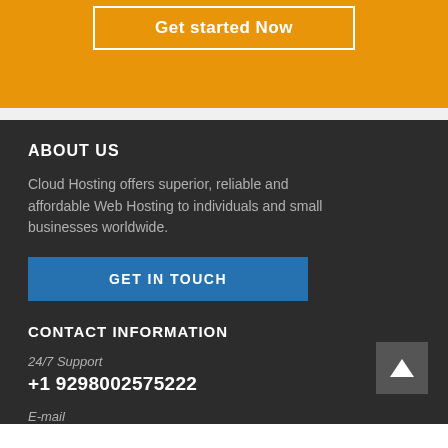Get started Now
ABOUT US
Cloud Hosting offers superior, reliable and affordable Web Hosting to individuals and small businesses worldwide.
GET IN TOUCH
CONTACT INFORMATION
24/7 Support
+1 9298002575222
E-mail